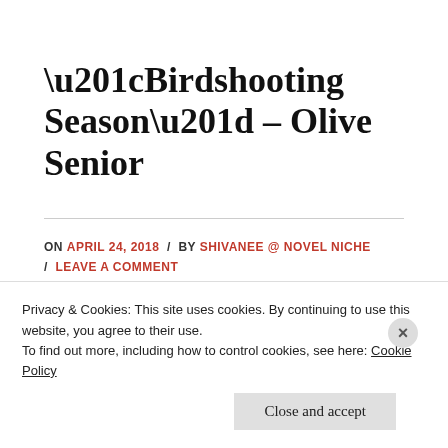“Birdshooting Season” – Olive Senior
ON APRIL 24, 2018 / BY SHIVANEE @ NOVEL NICHE / LEAVE A COMMENT
Privacy & Cookies: This site uses cookies. By continuing to use this website, you agree to their use. To find out more, including how to control cookies, see here: Cookie Policy
Close and accept